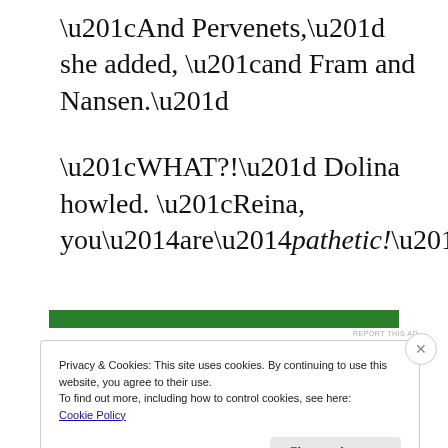“And Pervenets,” she added, “and Fram and Nansen.”
“WHAT?!” Dolina howled. “Reina, you—are—pathetic!”
[Figure (other): Green advertisement banner bar]
REPORT THIS AD
Privacy & Cookies: This site uses cookies. By continuing to use this website, you agree to their use.
To find out more, including how to control cookies, see here: Cookie Policy
Close and accept